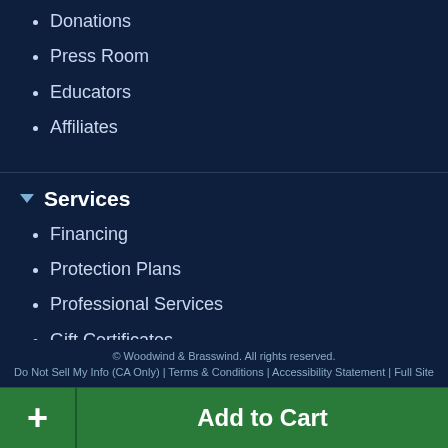Donations
Press Room
Educators
Affiliates
Services
Financing
Protection Plans
Professional Services
Gift Certificates
© Woodwind & Brasswind. All rights reserved.
Do Not Sell My Info (CA Only) | Terms & Conditions | Accessibility Statement | Full Site
+ Add to Cart